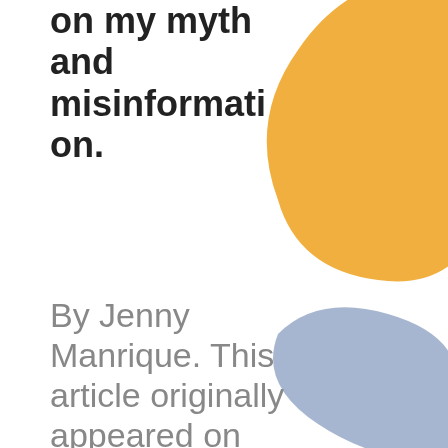on my myth and misinformation.
[Figure (illustration): Abstract orange rounded blob shape in the upper right area of the page]
By Jenny Manrique. This article originally appeared on Palabra. Read in Spanish and see the
[Figure (illustration): Abstract blue/slate rounded blob shape in the lower right corner of the page]